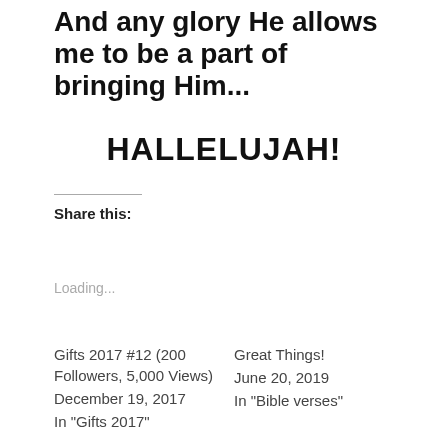And any glory He allows me to be a part of bringing Him...
HALLELUJAH!
Share this:
Loading...
Gifts 2017 #12 (200 Followers, 5,000 Views)
December 19, 2017
In "Gifts 2017"
Great Things!
June 20, 2019
In "Bible verses"
4th Anniversary for gaillovesgod 4.28.2020